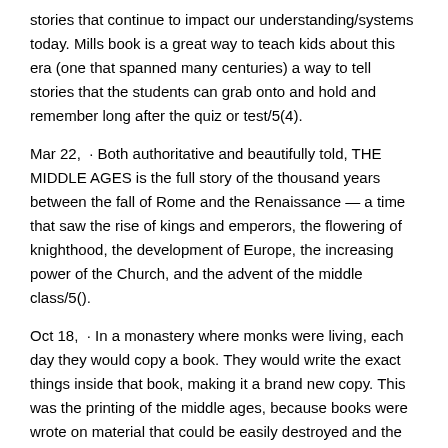stories that continue to impact our understanding/systems today. Mills book is a great way to teach kids about this era (one that spanned many centuries) a way to tell stories that the students can grab onto and hold and remember long after the quiz or test/5(4).
Mar 22,  · Both authoritative and beautifully told, THE MIDDLE AGES is the full story of the thousand years between the fall of Rome and the Renaissance — a time that saw the rise of kings and emperors, the flowering of knighthood, the development of Europe, the increasing power of the Church, and the advent of the middle class/5().
Oct 18,  · In a monastery where monks were living, each day they would copy a book. They would write the exact things inside that book, making it a brand new copy. This was the printing of the middle ages, because books were wrote on material that could be easily destroyed and the work must be copied.
The Book of the Middle Ages Text Sample, Student Sample, and Teacher Sample. Dorothy Mills wrote some wonderful history books in the s for use by middle school students, and Memoria Press is proud